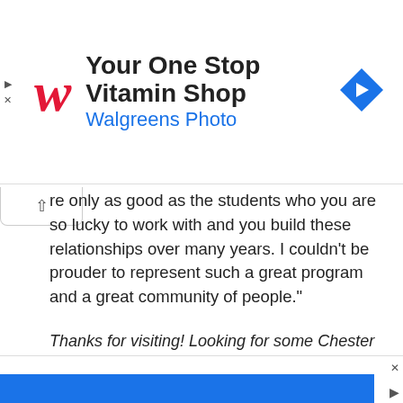[Figure (screenshot): Walgreens advertisement banner: Walgreens cursive logo in red, headline 'Your One Stop Vitamin Shop', subline 'Walgreens Photo' in blue, blue diamond navigation arrow icon on right.]
re only as good as the students who you are so lucky to work with and you build these relationships over many years. I couldn't be prouder to represent such a great program and a great community of people."
Thanks for visiting! Looking for some Chester County pride? We got you covered! Shop our MyChesCo store and show your love for Chester County, Pennsylvania. We got shirts, hats, and more – all with a unique ChesCo flair. Plus, proceeds from each purchase helps support our mission of bringing reliable information and resources to the people of Chester County.
[Figure (screenshot): Bottom advertisement bar — blue rectangle partial banner at bottom of page.]